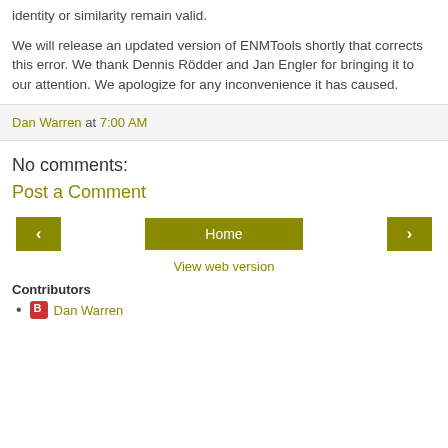identity or similarity remain valid.
We will release an updated version of ENMTools shortly that corrects this error. We thank Dennis Rödder and Jan Engler for bringing it to our attention. We apologize for any inconvenience it has caused.
Dan Warren at 7:00 AM
No comments:
Post a Comment
Home
View web version
Contributors
Dan Warren